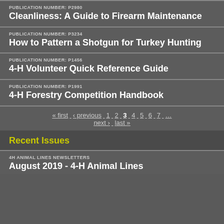PUBLICATION NUMBER: P2980
Cleanliness: A Guide to Firearm Maintenance
PUBLICATION NUMBER: P3234
How to Pattern a Shotgun for Turkey Hunting
PUBLICATION NUMBER: P1456
4-H Volunteer Quick Reference Guide
PUBLICATION NUMBER: P1991
4-H Forestry Competition Handbook
« first ‹ previous 1 2 3 4 5 6 7 … next › last »
Recent Issues
4H ANIMAL LINES NEWSLETTERS
August 2019 - 4-H Animal Lines